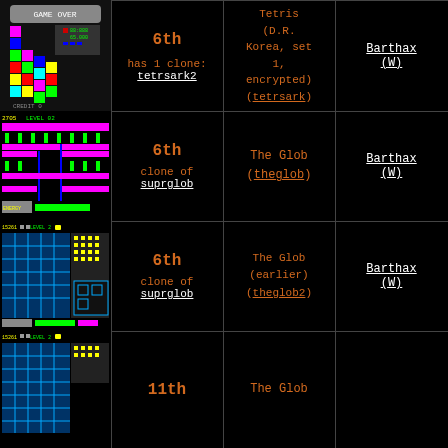[Figure (screenshot): Tetris game over screen with colorful blocks]
6th
has 1 clone:
tetrsark2
Tetris (D.R. Korea, set 1, encrypted) (tetrsark)
Barthax (W)
[Figure (screenshot): The Glob game screenshot with pink blocks and green plants]
6th
clone of
suprglob
The Glob (theglob)
Barthax (W)
[Figure (screenshot): The Glob earlier version screenshot with yellow dots and blue grid]
6th
clone of
suprglob
The Glob (earlier) (theglob2)
Barthax (W)
[Figure (screenshot): The Glob game screenshot partial view]
11th
The Glob